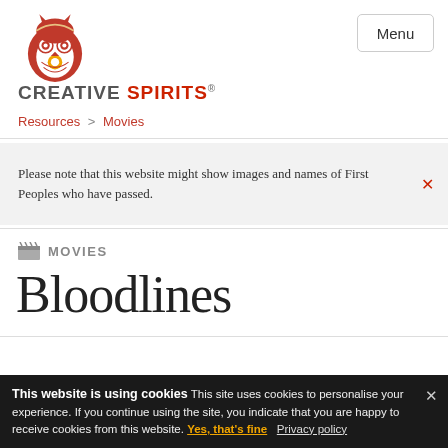[Figure (logo): Creative Spirits owl logo — red and white decorative owl above the text CREATIVE SPIRITS]
CREATIVE SPIRITS® | Menu
Resources > Movies
Please note that this website might show images and names of First Peoples who have passed.
MOVIES
Bloodlines
Join now   Share
Last updated: 21 February 2019
This website is using cookies This site uses cookies to personalise your experience. If you continue using the site, you indicate that you are happy to receive cookies from this website. Yes, that's fine   Privacy policy